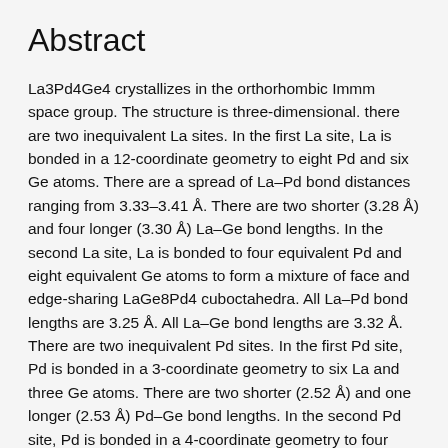Abstract
La3Pd4Ge4 crystallizes in the orthorhombic Immm space group. The structure is three-dimensional. there are two inequivalent La sites. In the first La site, La is bonded in a 12-coordinate geometry to eight Pd and six Ge atoms. There are a spread of La–Pd bond distances ranging from 3.33–3.41 Å. There are two shorter (3.28 Å) and four longer (3.30 Å) La–Ge bond lengths. In the second La site, La is bonded to four equivalent Pd and eight equivalent Ge atoms to form a mixture of face and edge-sharing LaGe8Pd4 cuboctahedra. All La–Pd bond lengths are 3.25 Å. All La–Ge bond lengths are 3.32 Å. There are two inequivalent Pd sites. In the first Pd site, Pd is bonded in a 3-coordinate geometry to six La and three Ge atoms. There are two shorter (2.52 Å) and one longer (2.53 Å) Pd–Ge bond lengths. In the second Pd site, Pd is bonded in a 4-coordinate geometry to four equivalent La and four